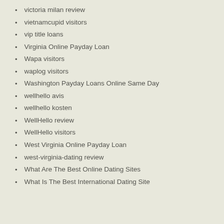victoria milan review
vietnamcupid visitors
vip title loans
Virginia Online Payday Loan
Wapa visitors
waplog visitors
Washington Payday Loans Online Same Day
wellhello avis
wellhello kosten
WellHello review
WellHello visitors
West Virginia Online Payday Loan
west-virginia-dating review
What Are The Best Online Dating Sites
What Is The Best International Dating Site